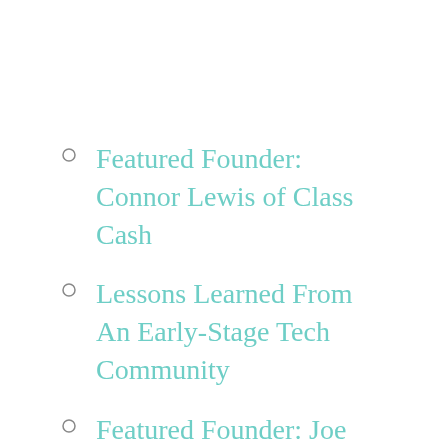Featured Founder: Connor Lewis of Class Cash
Lessons Learned From An Early-Stage Tech Community
Featured Founder: Joe Wilson from PRx
Our Team is Growing: Hiring an Operations